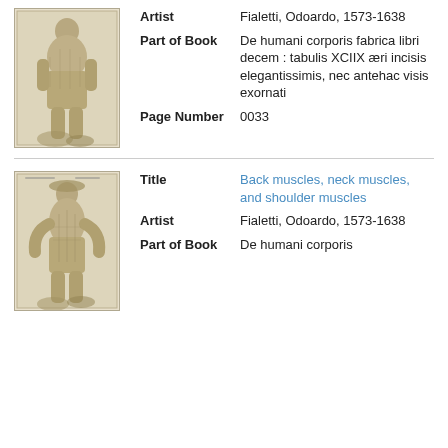[Figure (illustration): Anatomical illustration from historical medical book showing a figure with exposed muscles]
Artist: Fialetti, Odoardo, 1573-1638
Part of Book: De humani corporis fabrica libri decem : tabulis XCIIX æri incisis elegantissimis, nec antehac visis exornati
Page Number: 0033
[Figure (illustration): Anatomical illustration from historical medical book showing a figure from behind with exposed back, neck, and shoulder muscles]
Title: Back muscles, neck muscles, and shoulder muscles
Artist: Fialetti, Odoardo, 1573-1638
Part of Book: De humani corporis